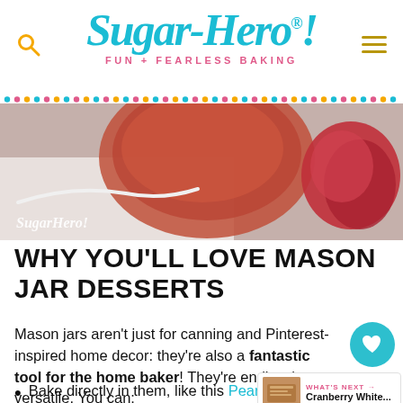SugarHero! — FUN + FEARLESS BAKING
[Figure (photo): Close-up photo of a mason jar dessert on a white surface with red garnish, SugarHero! watermark in bottom-left corner]
WHY YOU'LL LOVE MASON JAR DESSERTS
Mason jars aren't just for canning and Pinterest-inspired home decor: they're also a fantastic tool for the home baker! They're endlessly versatile. You can:
Bake directly in them, like this Pear Pie in a